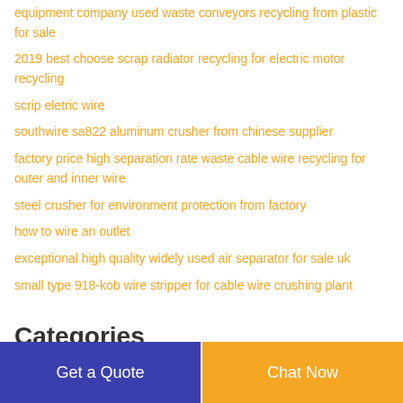equipment company used waste conveyors recycling from plastic for sale
2019 best choose scrap radiator recycling for electric motor recycling
scrip eletric wire
southwire sa822 aluminum crusher from chinese supplier
factory price high separation rate waste cable wire recycling for outer and inner wire
steel crusher for environment protection from factory
how to wire an outlet
exceptional high quality widely used air separator for sale uk
small type 918-kob wire stripper for cable wire crushing plant
Categories
Get a Quote
Chat Now